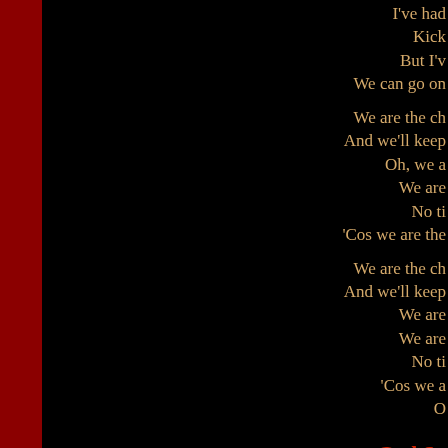I've had
Kick
But I'v
We can go on

We are the ch
And we'll keep
Oh, we a
We are
No ti
'Cos we are the

We are the ch
And we'll keep
We are
We are
No ti
'Cos we a
O
God Sa
Freddie....Thank you, you beautiful people. Y
audience. Thank you very much